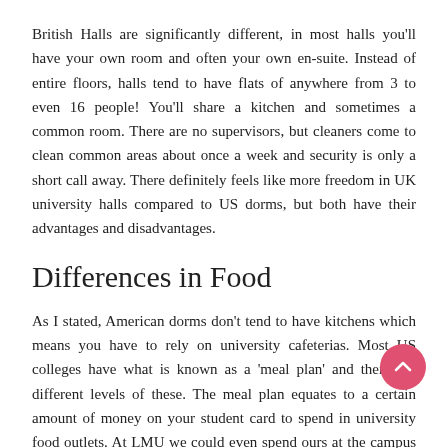British Halls are significantly different, in most halls you'll have your own room and often your own en-suite. Instead of entire floors, halls tend to have flats of anywhere from 3 to even 16 people! You'll share a kitchen and sometimes a common room. There are no supervisors, but cleaners come to clean common areas about once a week and security is only a short call away. There definitely feels like more freedom in UK university halls compared to US dorms, but both have their advantages and disadvantages.
Differences in Food
As I stated, American dorms don't tend to have kitchens which means you have to rely on university cafeterias. Most US colleges have what is known as a 'meal plan' and there are different levels of these. The meal plan equates to a certain amount of money on your student card to spend in university food outlets. At LMU we could even spend ours at the campus Starbucks and local dominoes! One thing I did find studying abroad in America was that my meal plan was far too large, even though I opted for the cheapest version.